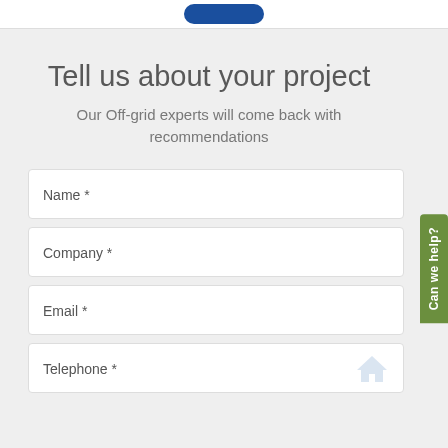Tell us about your project
Our Off-grid experts will come back with recommendations
Name *
Company *
Email *
Telephone *